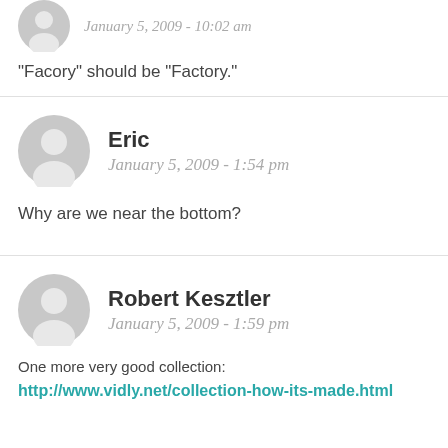January 5, 2009 - 10:02 am
“Facory” should be “Factory.”
Eric
January 5, 2009 - 1:54 pm
Why are we near the bottom?
Robert Kesztler
January 5, 2009 - 1:59 pm
One more very good collection:
http://www.vidly.net/collection-how-its-made.html